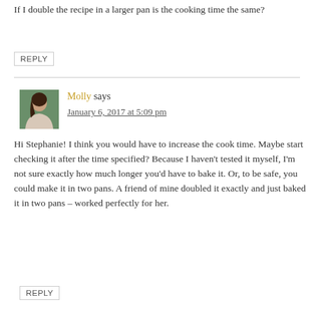If I double the recipe in a larger pan is the cooking time the same?
REPLY
Molly says
January 6, 2017 at 5:09 pm
Hi Stephanie! I think you would have to increase the cook time. Maybe start checking it after the time specified? Because I haven't tested it myself, I'm not sure exactly how much longer you'd have to bake it. Or, to be safe, you could make it in two pans. A friend of mine doubled it exactly and just baked it in two pans – worked perfectly for her.
REPLY